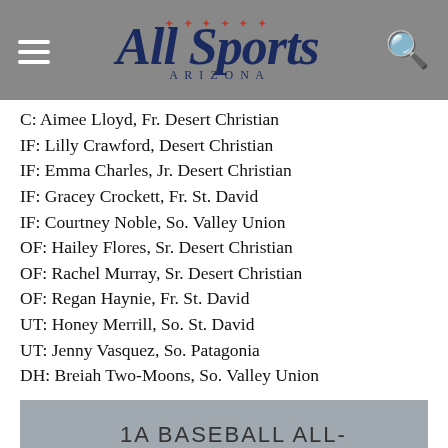All Sports [logo header]
C: Aimee Lloyd, Fr. Desert Christian
IF: Lilly Crawford, Desert Christian
IF: Emma Charles, Jr. Desert Christian
IF: Gracey Crockett, Fr. St. David
IF: Courtney Noble, So. Valley Union
OF: Hailey Flores, Sr. Desert Christian
OF: Rachel Murray, Sr. Desert Christian
OF: Regan Haynie, Fr. St. David
UT: Honey Merrill, So. St. David
UT: Jenny Vasquez, So. Patagonia
DH: Breiah Two-Moons, So. Valley Union
1A BASEBALL ALL-STARS
PLAYER OF THE YEAR